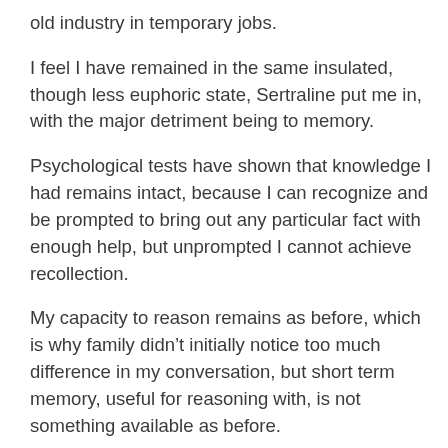old industry in temporary jobs.
I feel I have remained in the same insulated, though less euphoric state, Sertraline put me in, with the major detriment being to memory.
Psychological tests have shown that knowledge I had remains intact, because I can recognize and be prompted to bring out any particular fact with enough help, but unprompted I cannot achieve recollection.
My capacity to reason remains as before, which is why family didn’t initially notice too much difference in my conversation, but short term memory, useful for reasoning with, is not something available as before.
Memory?
I have been seeking an explanation for the changes